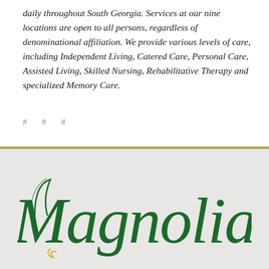daily throughout South Georgia. Services at our nine locations are open to all persons, regardless of denominational affiliation. We provide various levels of care, including Independent Living, Catered Care, Personal Care, Assisted Living, Skilled Nursing, Rehabilitative Therapy and specialized Memory Care.
# # #
[Figure (logo): Magnolia scripted logo in dark green cursive lettering on grey background]